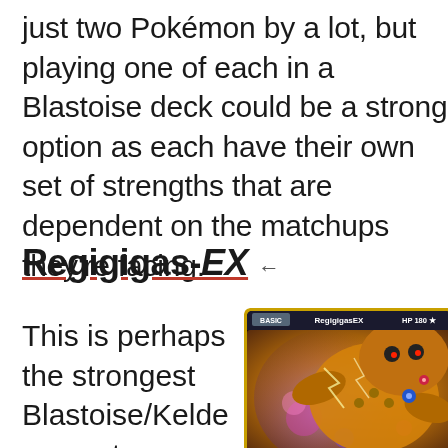just two Pokémon by a lot, but playing one of each in a Blastoise deck could be a strong option as each have their own set of strengths that are dependent on the matchups they're facing.
Regigigas-EX
This is perhaps the strongest Blastoise/Keldeo counter available in the
[Figure (photo): Regigigas EX Pokémon trading card showing a large robotic/golem creature with HP 180, labeled BASIC at the top left.]